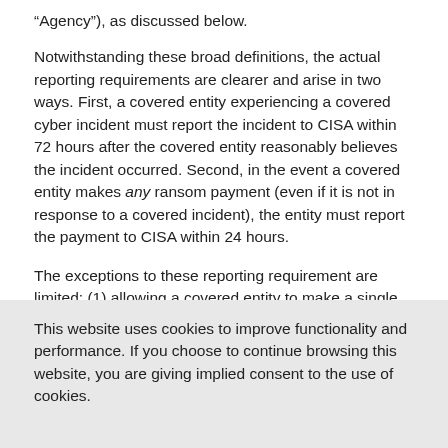“Agency”), as discussed below.
Notwithstanding these broad definitions, the actual reporting requirements are clearer and arise in two ways. First, a covered entity experiencing a covered cyber incident must report the incident to CISA within 72 hours after the covered entity reasonably believes the incident occurred. Second, in the event a covered entity makes any ransom payment (even if it is not in response to a covered incident), the entity must report the payment to CISA within 24 hours.
The exceptions to these reporting requirement are limited: (1) allowing a covered entity to make a single report to
This website uses cookies to improve functionality and performance. If you choose to continue browsing this website, you are giving implied consent to the use of cookies.